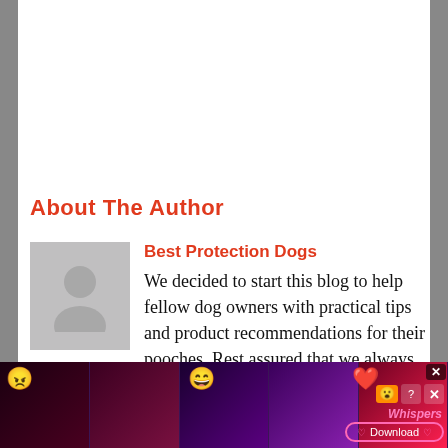About The Author
Best Protection Dogs
We decided to start this blog to help fellow dog owners with practical tips and product recommendations for their pooches. Rest assured that we always research and seek the best products for your pet. If you have suggestions or any topic that you want us to write about next, feel free to leave your
[Figure (photo): Advertisement banner at bottom showing multiple illustrated romance novel/app covers with emoji reactions and a download button for 'Whispers' app]